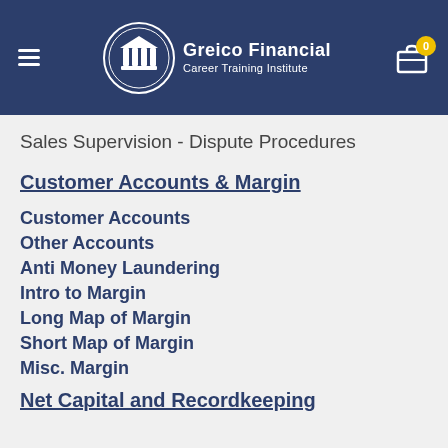Greico Financial Career Training Institute
Sales Supervision - Dispute Procedures
Customer Accounts & Margin
Customer Accounts
Other Accounts
Anti Money Laundering
Intro to Margin
Long Map of Margin
Short Map of Margin
Misc. Margin
Net Capital and Recordkeeping